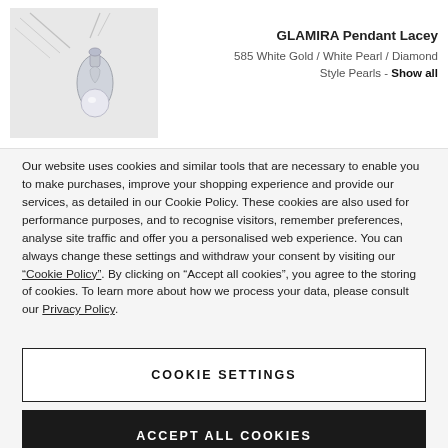[Figure (photo): Product image of GLAMIRA Pendant Lacey jewelry item in white gold with pearl]
GLAMIRA Pendant Lacey
585 White Gold / White Pearl / Diamond Style Pearls - Show all
Our website uses cookies and similar tools that are necessary to enable you to make purchases, improve your shopping experience and provide our services, as detailed in our Cookie Policy. These cookies are also used for performance purposes, and to recognise visitors, remember preferences, analyse site traffic and offer you a personalised web experience. You can always change these settings and withdraw your consent by visiting our “Cookie Policy”. By clicking on “Accept all cookies”, you agree to the storing of cookies. To learn more about how we process your data, please consult our Privacy Policy.
COOKIE SETTINGS
ACCEPT ALL COOKIES